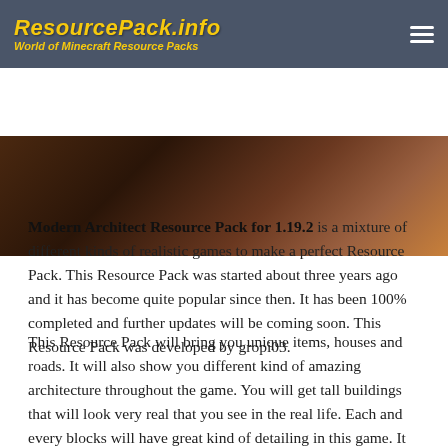ResourcePack.info — World of Minecraft Resource Packs
[Figure (photo): Hero image showing a dark Minecraft scene with warm brown/red tones, partially visible at the top of the content area]
Modern Architect Resource Pack for 1.19.2 is a mixture of different kinds of realistic games to make a perfect Resource Pack. This Resource Pack was started about three years ago and it has become quite popular since then. It has been 100% completed and further updates will be coming soon. This Resource Pack was developed by gropi03.
This Resource Pack will bring you unique items, houses and roads. It will also show you different kind of amazing architecture throughout the game. You will get tall buildings that will look very real that you see in the real life. Each and every blocks will have great kind of detailing in this game. It will also have a stadium that will be filled with dark yellow colors. Roads will look fantastic and sun will look mesmerizing. You will have a resolution of 128×128 in this Resource